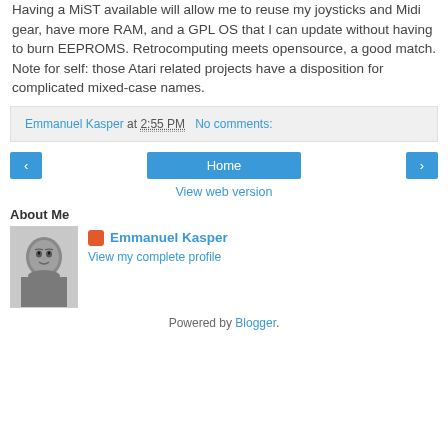Having a MiST available will allow me to reuse my joysticks and Midi gear, have more RAM, and a GPL OS that I can update without having to burn EEPROMS. Retrocomputing meets opensource, a good match. Note for self: those Atari related projects have a disposition for complicated mixed-case names.
Emmanuel Kasper at 2:55 PM    No comments:
‹  Home  ›
View web version
About Me
[Figure (photo): Black and white portrait photo of Emmanuel Kasper]
Emmanuel Kasper
View my complete profile
Powered by Blogger.